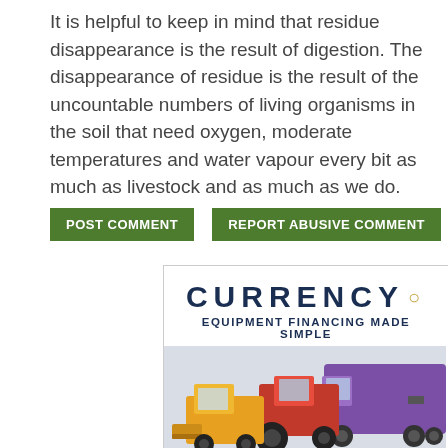It is helpful to keep in mind that residue disappearance is the result of digestion. The disappearance of residue is the result of the uncountable numbers of living organisms in the soil that need oxygen, moderate temperatures and water vapour every bit as much as livestock and as much as we do.
[Figure (other): Two green buttons: POST COMMENT and REPORT ABUSIVE COMMENT]
[Figure (screenshot): Advertisement for Currency equipment financing. Shows 'CURRENCY.' logo in dark navy with gold dot, subtitle 'EQUIPMENT FINANCING MADE SIMPLE', image of yellow skid steer, red tractor, and purple semi-truck, and footer bar with 'GoCurrency.com' text on dark blue background with green arrow button.]